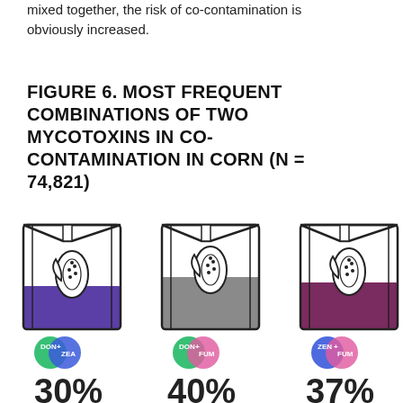mixed together, the risk of co-contamination is obviously increased.
FIGURE 6. MOST FREQUENT COMBINATIONS OF TWO MYCOTOXINS IN CO-CONTAMINATION IN CORN (N = 74,821)
[Figure (infographic): Three illustrated feed bags each partially filled with colored liquid. First bag (purple fill) labeled DON + ZEA with green and blue overlapping circles. Second bag (gray fill) labeled DON + FUM with green and pink overlapping circles. Third bag (dark purple fill) labeled ZEN + FUM with blue and pink overlapping circles. Below each bag are large bold percentage numbers (30%, 40%, 37% partially visible).]